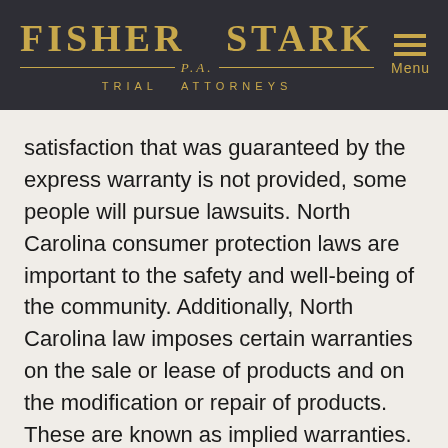[Figure (logo): Fisher Stark P.A. Trial Attorneys logo with gold text on dark background, with hamburger menu icon and Menu label]
satisfaction that was guaranteed by the express warranty is not provided, some people will pursue lawsuits. North Carolina consumer protection laws are important to the safety and well-being of the community. Additionally, North Carolina law imposes certain warranties on the sale or lease of products and on the modification or repair of products. These are known as implied warranties.
Warranty affects